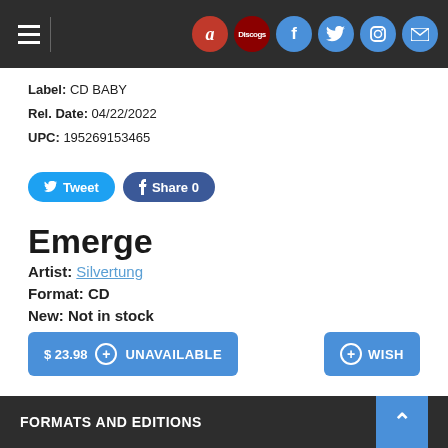Navigation bar with hamburger menu and social icons (Amazon, Discogs, Facebook, Twitter, Instagram, Mail)
Label: CD BABY
Rel. Date: 04/22/2022
UPC: 195269153465
Tweet | Share 0
Emerge
Artist: Silvertung
Format: CD
New: Not in stock
$23.98  UNAVAILABLE   WISH
FORMATS AND EDITIONS